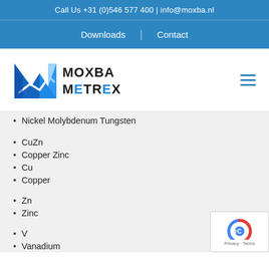Call Us +31 (0)546 577 400 | info@moxba.nl
Downloads | Contact
[Figure (logo): Moxba Metrex logo with stylized blue M and bold text MOXBA METREX]
Nickel Molybdenum Tungsten
CuZn
Copper Zinc
Cu
Copper
Zn
Zinc
V
Vanadium